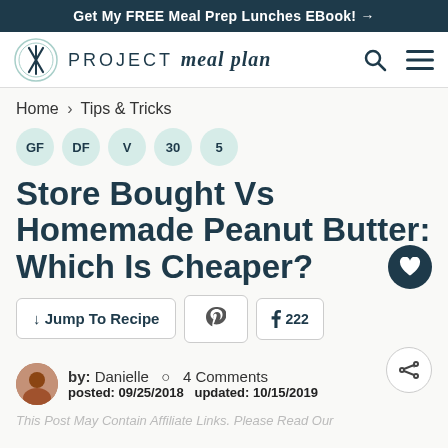Get My FREE Meal Prep Lunches EBook! →
[Figure (logo): Project Meal Plan logo with utensils icon and text 'PROJECT meal plan']
Home > Tips & Tricks
GF DF V 30 5
Store Bought Vs Homemade Peanut Butter: Which Is Cheaper?
↓ Jump To Recipe  [Pinterest icon]  f 222  [share icon]
by: Danielle  ○ 4 Comments
posted: 09/25/2018  updated: 10/15/2019
This Post May Contain Affiliate Links. Please Read Our...